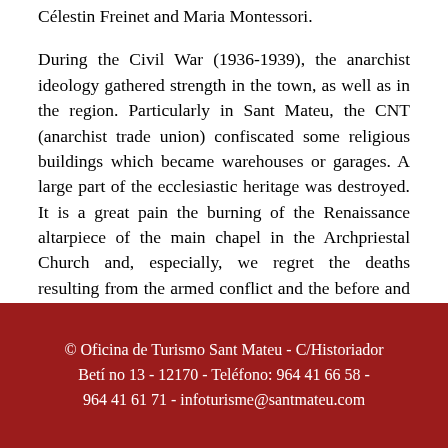Célestin Freinet and Maria Montessori.
During the Civil War (1936-1939), the anarchist ideology gathered strength in the town, as well as in the region. Particularly in Sant Mateu, the CNT (anarchist trade union) confiscated some religious buildings which became warehouses or garages. A large part of the ecclesiastic heritage was destroyed. It is a great pain the burning of the Renaissance altarpiece of the main chapel in the Archpriestal Church and, especially, we regret the deaths resulting from the armed conflict and the before and after suppression.
© Oficina de Turismo Sant Mateu - C/Historiador Betí no 13 - 12170 - Teléfono: 964 41 66 58 - 964 41 61 71 - infoturisme@santmateu.com